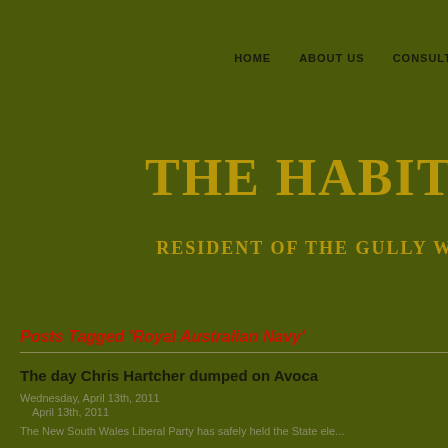HOME   ABOUT US   CONSULTANC
THE HABITAT A
RESIDENT OF THE GULLY WATER
2001
Posts Tagged 'Royal Australian Navy'
The day Chris Hartcher dumped on Avoca
Wednesday, April 13th, 2011
April 13th, 2011
The New South Wales Liberal Party has safely held the State ele...